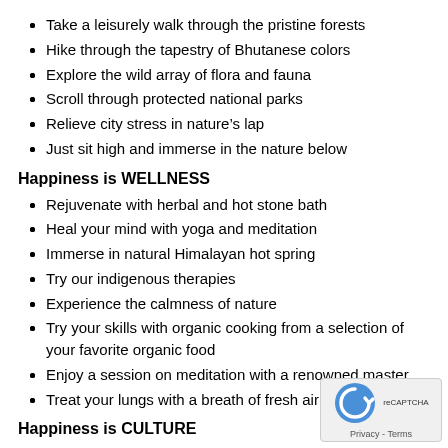Take a leisurely walk through the pristine forests
Hike through the tapestry of Bhutanese colors
Explore the wild array of flora and fauna
Scroll through protected national parks
Relieve city stress in nature’s lap
Just sit high and immerse in the nature below
Happiness is WELLNESS
Rejuvenate with herbal and hot stone bath
Heal your mind with yoga and meditation
Immerse in natural Himalayan hot spring
Try our indigenous therapies
Experience the calmness of nature
Try your skills with organic cooking from a selection of your favorite organic food
Enjoy a session on meditation with a renowned master
Treat your lungs with a breath of fresh air everyday
Happiness is CULTURE
Sleep under the rafters of an ancients farmhouse
Cook Bhutanese dishes and lose your palate to the Ema datshi ( chilly cheese curry relished in Bhutan )
Savor the locally brewed alcohol, Ara and chhagkey Fried